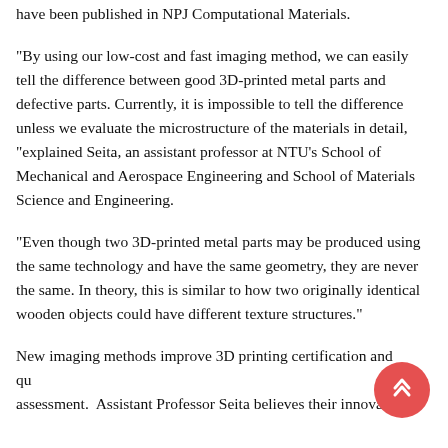have been published in NPJ Computational Materials.
"By using our low-cost and fast imaging method, we can easily tell the difference between good 3D-printed metal parts and defective parts. Currently, it is impossible to tell the difference unless we evaluate the microstructure of the materials in detail, "explained Seita, an assistant professor at NTU's School of Mechanical and Aerospace Engineering and School of Materials Science and Engineering.
"Even though two 3D-printed metal parts may be produced using the same technology and have the same geometry, they are never the same. In theory, this is similar to how two originally identical wooden objects could have different texture structures."
New imaging methods improve 3D printing certification and quality assessment.  Assistant Professor Seita believes their innovative